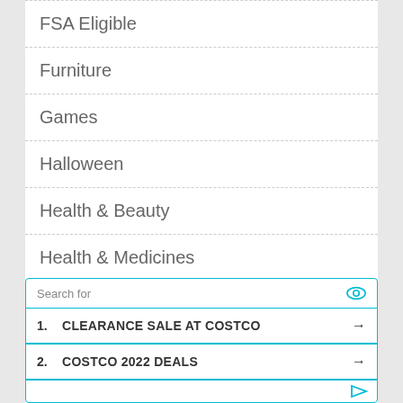FSA Eligible
Furniture
Games
Halloween
Health & Beauty
Health & Medicines
Health & Personal Care
Search for
1. CLEARANCE SALE AT COSTCO →
2. COSTCO 2022 DEALS →